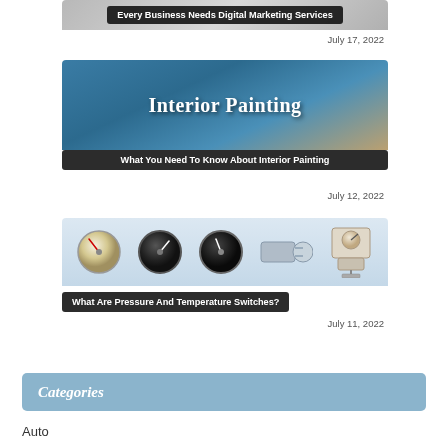[Figure (photo): Blog post thumbnail for digital marketing article with dark overlay title bar]
Every Business Needs Digital Marketing Services
July 17, 2022
[Figure (photo): Interior painting blog post image with blue background and bold white serif title 'Interior Painting']
What You Need To Know About Interior Painting
July 12, 2022
[Figure (photo): Row of pressure gauges and temperature switches on light blue background]
What Are Pressure And Temperature Switches?
July 11, 2022
Categories
Auto